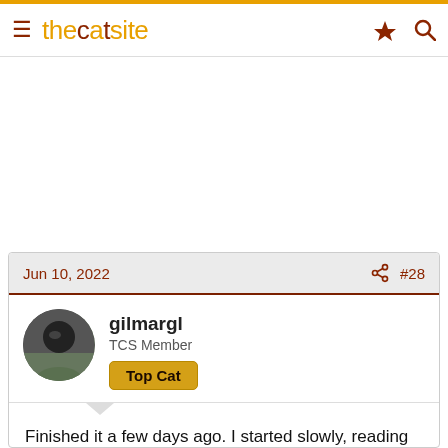thecatsite
Jun 10, 2022  #28
gilmargl
TCS Member
Top Cat
Finished it a few days ago. I started slowly, reading just before falling asleep, and getting the characters all mixed up! Suddenly, it became exciting and I had to see how it all came together.